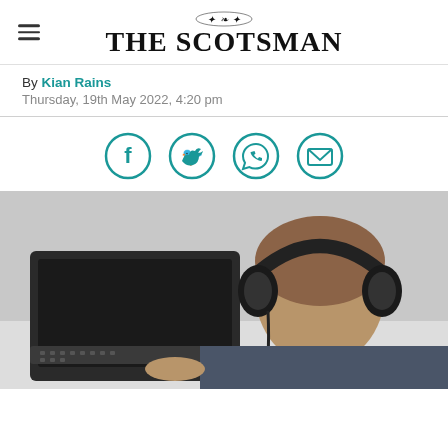THE SCOTSMAN
By Kian Rains
Thursday, 19th May 2022, 4:20 pm
[Figure (infographic): Social share buttons: Facebook, Twitter, WhatsApp, Email - teal circle icons]
[Figure (photo): Person wearing headphones viewed from behind, using a laptop computer]